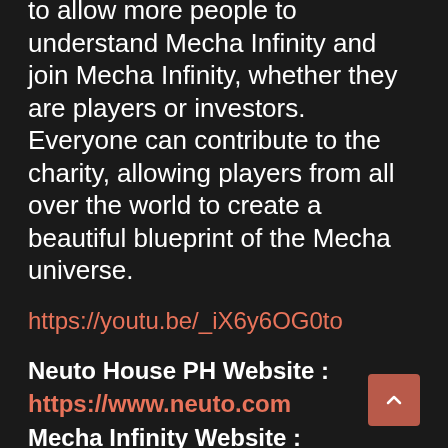to allow more people to understand Mecha Infinity and join Mecha Infinity, whether they are players or investors. Everyone can contribute to the charity, allowing players from all over the world to create a beautiful blueprint of the Mecha universe.
https://youtu.be/_iX6y6OG0to
Neuto House PH Website : https://www.neuto.com Mecha Infinity Website : https://mechainfinity.com
Source: Mecha Infinity
Filed Under: Business